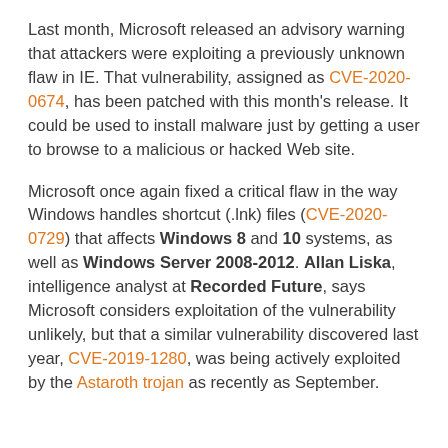Last month, Microsoft released an advisory warning that attackers were exploiting a previously unknown flaw in IE. That vulnerability, assigned as CVE-2020-0674, has been patched with this month's release. It could be used to install malware just by getting a user to browse to a malicious or hacked Web site.
Microsoft once again fixed a critical flaw in the way Windows handles shortcut (.lnk) files (CVE-2020-0729) that affects Windows 8 and 10 systems, as well as Windows Server 2008-2012. Allan Liska, intelligence analyst at Recorded Future, says Microsoft considers exploitation of the vulnerability unlikely, but that a similar vulnerability discovered last year, CVE-2019-1280, was being actively exploited by the Astaroth trojan as recently as September.